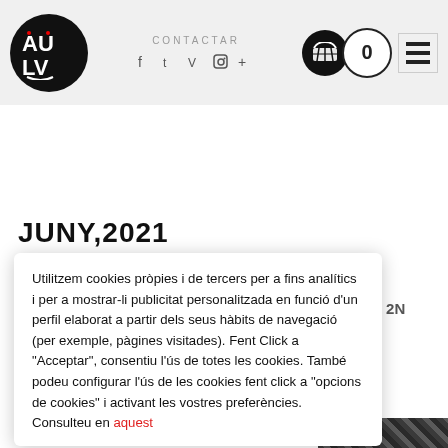[Figure (logo): AULV logo: black circle with white AU LV text and red dots]
CONTACTAR
JUNY,2021
Utilitzem cookies pròpies i de tercers per a fins analítics i per a mostrar-li publicitat personalitzada en funció d'un perfil elaborat a partir dels seus hàbits de navegació (per exemple, pàgines visitades). Fent Click a "Acceptar", consentiu l'ús de totes les cookies. També podeu configurar l'ús de les cookies fent click a "opcions de cookies" i activant les vostres preferències. Consulteu en aquest
.EM
FINAL DE 2N
xador